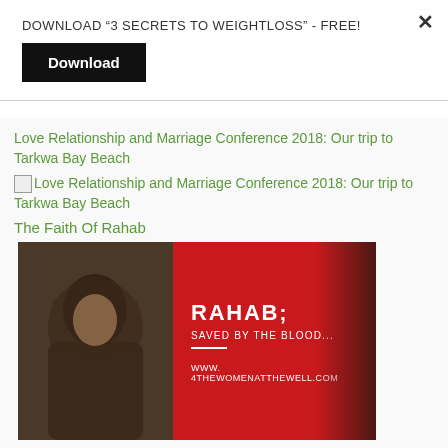DOWNLOAD “3 SECRETS TO WEIGHTLOSS” - FREE!
Download
Love Relationship and Marriage Conference 2018: Our trip to Tarkwa Bay Beach
Love Relationship and Marriage Conference 2018: Our trip to Tarkwa Bay Beach
The Faith Of Rahab
[Figure (illustration): Promotional image for 'Rahab; Saved by the Blood...' showing a woman in a head covering on the left against a dark background, and red panel on the right with text 'RAHAB; SAVED BY THE BLOOD...' and 'www.4thewomenatthewell.com']